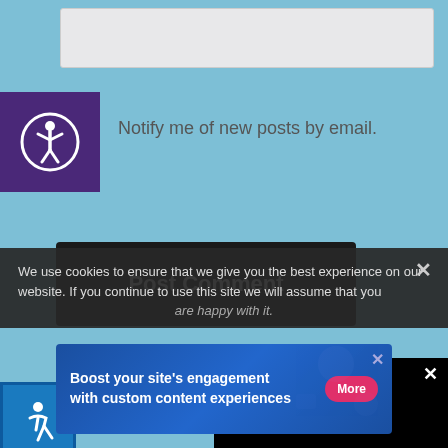[Figure (screenshot): Text input box (website comment form field), light gray background]
[Figure (logo): Accessibility icon - purple square with white person-in-circle symbol]
Notify me of new posts by email.
[Figure (screenshot): Post Comment button - black rounded rectangle with white bold text]
[Figure (logo): Accessibility icon - blue square with white wheelchair symbol]
[Figure (screenshot): Video player overlay - black rectangle with loading spinner circle and X close button]
We use cookies to ensure that we give you the best experience on our website. If you continue to use this site we will assume that you are happy with it.
[Figure (screenshot): Advertisement banner: blue background with text 'Boost your site's engagement with custom content experiences' and pink 'More' button]